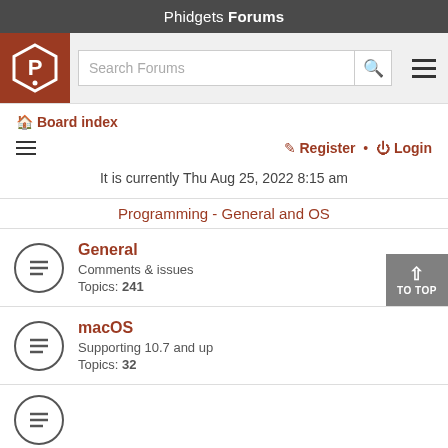Phidgets Forums
[Figure (logo): Phidgets hexagonal P logo in white on brown background, with search bar and hamburger menu]
Board index
Register • Login
It is currently Thu Aug 25, 2022 8:15 am
Programming - General and OS
General
Comments & issues
Topics: 241
macOS
Supporting 10.7 and up
Topics: 32